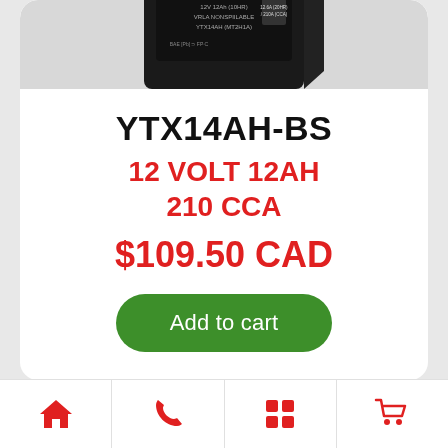[Figure (photo): Black motorcycle/powersport battery (YTX14AH-BS) shown from top-front angle, with Pb Pb labels and specifications on the front label]
YTX14AH-BS
12 VOLT 12AH
210 CCA
$109.50 CAD
Add to cart
[Figure (infographic): Bottom navigation bar with four icons: home, phone, grid/apps, shopping cart — all in red]